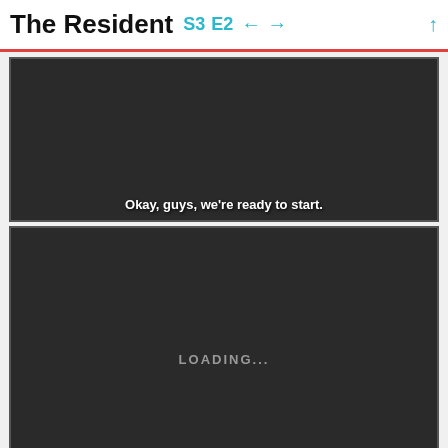The Resident S3 E2
[Figure (screenshot): Dark video frame showing subtitle: Okay, guys, we're ready to start.]
[Figure (screenshot): Dark video frame with LOADING... text in center and subtitle: And now we can analyze tumor DNA]
[Figure (screenshot): Dark video frame, partially visible at bottom of page]